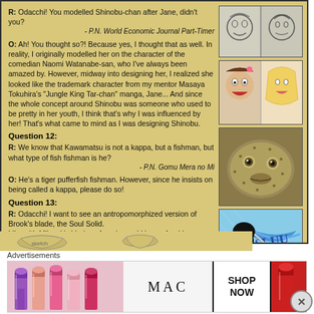R: Odacchi! You modelled Shinobu-chan after Jane, didn't you? - P.N. World Economic Journal Part-Timer
O: Ah! You thought so?! Because yes, I thought that as well. In reality, I originally modelled her on the character of the comedian Naomi Watanabe-san, who I've always been amazed by. However, midway into designing her, I realized she looked like the trademark character from my mentor Masaya Tokuhira's "Jungle King Tar-chan" manga, Jane... And since the whole concept around Shinobu was someone who used to be pretty in her youth, I think that's why I was influenced by her! That's what came to mind as I was designing Shinobu.
[Figure (illustration): Manga illustration panels showing two characters side by side]
[Figure (illustration): Manga illustration showing two female characters side by side]
Question 12:
R: We know that Kawamatsu is not a kappa, but a fishman, but what type of fish fishman is he? - P.N. Gomu Mera no Mi
[Figure (photo): Close-up photo of a pufferfish face]
O: He's a tiger pufferfish fishman. However, since he insists on being called a kappa, please do so!
Question 13:
R: Odacchi! I want to see an antropomorphized version of Brook's blade, the Soul Solid. Like with Mihawk's blade, a female would be preferable. I feel like Brook would be happy if it were female as well. - P.N. Odamania's Brother
[Figure (illustration): Manga colored illustration of Brook performing a sword attack with Soul Solid]
O: A female, huh. Understood!
[Figure (illustration): Sketch illustrations at bottom of page]
Advertisements
[Figure (screenshot): MAC Cosmetics advertisement banner with lipsticks and SHOP NOW button]